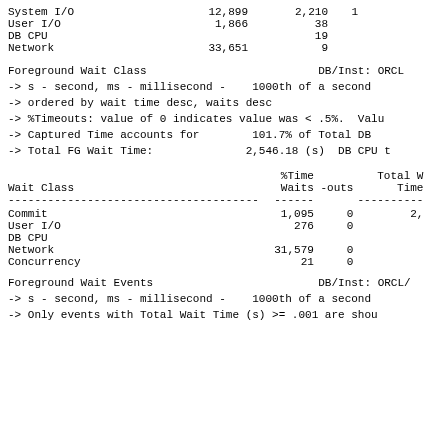| System I/O | 12,899 | 2,210 | 1 |
| User I/O | 1,866 | 38 |  |
| DB CPU |  | 19 |  |
| Network | 33,651 | 9 |  |
Foreground Wait Class                          DB/Inst: ORCL
-> s - second, ms - millisecond -    1000th of a second
-> ordered by wait time desc, waits desc
-> %Timeouts: value of 0 indicates value was < .5%.  Valu
-> Captured Time accounts for        101.7% of Total DB
-> Total FG Wait Time:              2,546.18 (s)  DB CPU t
| Wait Class | Waits | %Time -outs | Total W Time |
| --- | --- | --- | --- |
| Commit | 1,095 | 0 | 2, |
| User I/O | 276 | 0 |  |
| DB CPU |  |  |  |
| Network | 31,579 | 0 |  |
| Concurrency | 21 | 0 |  |
Foreground Wait Events                         DB/Inst: ORCL/
-> s - second, ms - millisecond -    1000th of a second
-> Only events with Total Wait Time (s) >= .001 are shou